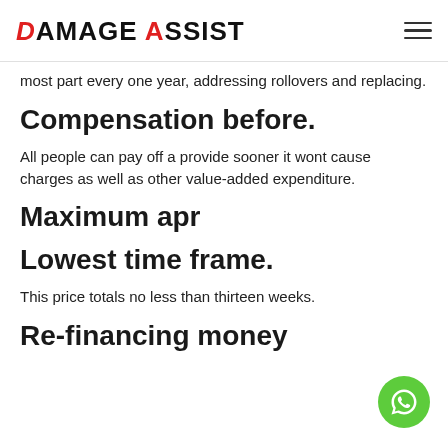DAMAGE ASSIST
most part every one year, addressing rollovers and replacing.
Compensation before.
All people can pay off a provide sooner it wont cause charges as well as other value-added expenditure.
Maximum apr
Lowest time frame.
This price totals no less than thirteen weeks.
Re-financing money